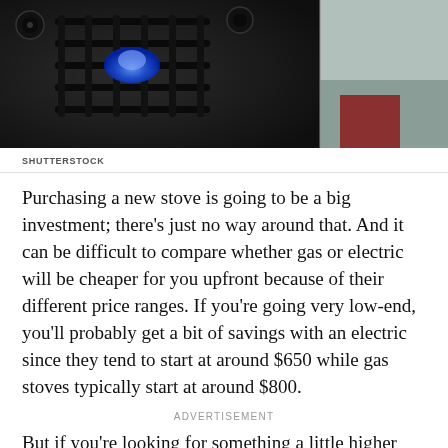[Figure (photo): Close-up photo of a black gas stove burner with a blue flame, dark surface, and a person partially visible on the right side.]
SHUTTERSTOCK
Purchasing a new stove is going to be a big investment; there's just no way around that. And it can be difficult to compare whether gas or electric will be cheaper for you upfront because of their different price ranges. If you're going very low-end, you'll probably get a bit of savings with an electric since they tend to start at around $650 while gas stoves typically start at around $800.
ADVERTISEMENT
But if you're looking for something a little higher end, you could end up paying up to $2,800 for an electric stove while the best gas stoves can be had for about $2,300. There's a difference at both ends of the scale, but